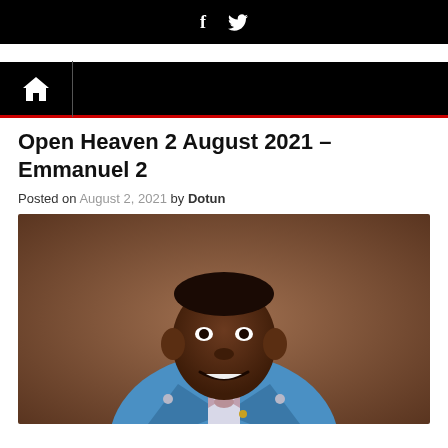f  𝐹  [social icons: Facebook, Twitter]
🏠 [home navigation bar]
Open Heaven 2 August 2021 – Emmanuel 2
Posted on August 2, 2021 by Dotun
[Figure (photo): Portrait photo of a smiling man in a blue suit and bow tie against a brown background]